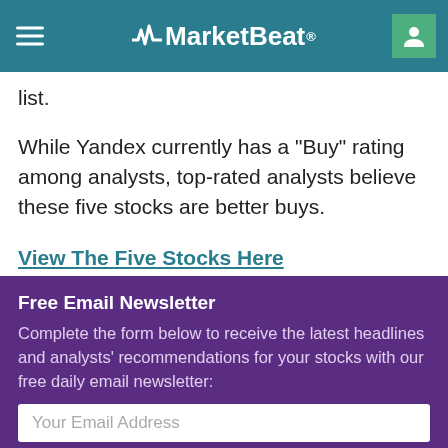MarketBeat
list.
While Yandex currently has a "Buy" rating among analysts, top-rated analysts believe these five stocks are better buys.
View The Five Stocks Here
Free Email Newsletter
Complete the form below to receive the latest headlines and analysts' recommendations for your stocks with our free daily email newsletter:
Your Email Address